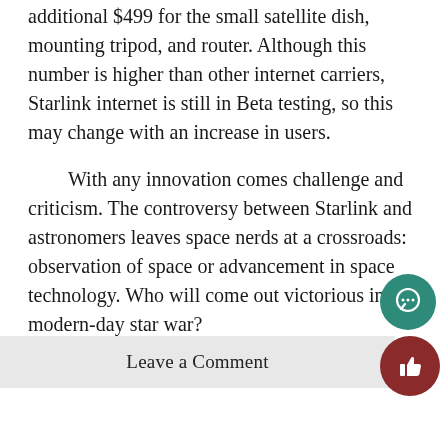additional $499 for the small satellite dish, mounting tripod, and router. Although this number is higher than other internet carriers, Starlink internet is still in Beta testing, so this may change with an increase in users.
With any innovation comes challenge and criticism. The controversy between Starlink and astronomers leaves space nerds at a crossroads: observation of space or advancement in space technology. Who will come out victorious in this modern-day star war?
Leave a Comment